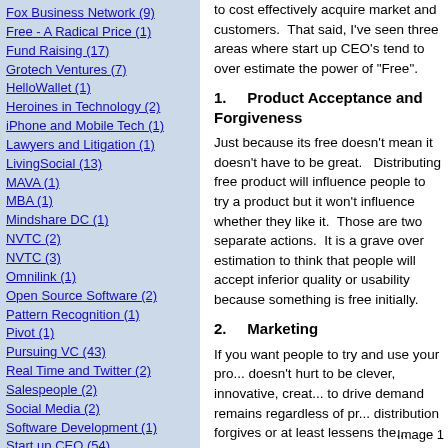Fox Business Network (9)
Free - A Radical Price (1)
Fund Raising (17)
Grotech Ventures (7)
HelloWallet (1)
Heroines in Technology (2)
iPhone and Mobile Tech (1)
Lawyers and Litigation (1)
LivingSocial (13)
MAVA (1)
MBA (1)
Mindshare DC (1)
NVTC (2)
NVTC (3)
Omnilink (1)
Open Source Software (2)
Pattern Recognition (1)
Pivot (1)
Pursuing VC (43)
Real Time and Twitter (2)
Salespeople (2)
Social Media (2)
Software Development (1)
Start up CEO (54)
Start up CEO Compensation (3)
Startup Compensation (8)
to cost effectively acquire market and customers. That said, I've seen three areas where start up CEO's tend to over estimate the power of "Free".
1.    Product Acceptance and Forgiveness
Just because its free doesn't mean it doesn't have to be great.  Distributing free product will influence people to try a product but it won't influence whether they like it.  Those are two separate actions.  It is a grave over estimation to think that people will accept inferior quality or usability because something is free initially.
2.    Marketing
If you want people to try and use your pro... doesn't hurt to be clever, innovative, creat... to drive demand remains regardless of pr... distribution forgives or at least lessens the...
3.    Support
As an example, open source software pro...
Image 1